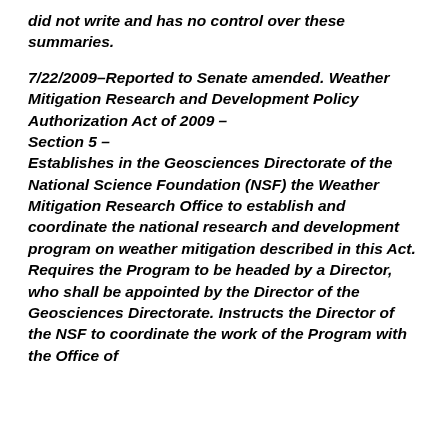did not write and has no control over these summaries.
7/22/2009–Reported to Senate amended. Weather Mitigation Research and Development Policy Authorization Act of 2009 – Section 5 – Establishes in the Geosciences Directorate of the National Science Foundation (NSF) the Weather Mitigation Research Office to establish and coordinate the national research and development program on weather mitigation described in this Act. Requires the Program to be headed by a Director, who shall be appointed by the Director of the Geosciences Directorate. Instructs the Director of the NSF to coordinate the work of the Program with the Office of